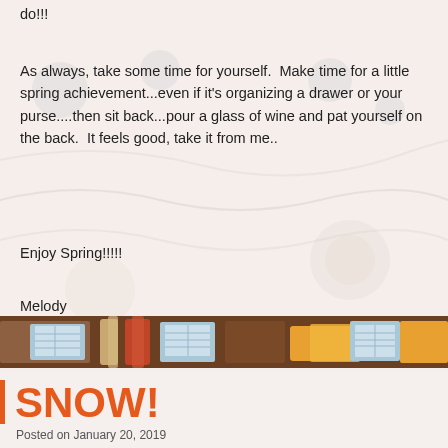do!!!
As always, take some time for yourself.  Make time for a little spring achievement...even if it's organizing a drawer or your purse....then sit back...pour a glass of wine and pat yourself on the back.  It feels good, take it from me..
Enjoy Spring!!!!!
Melody
[Figure (photo): A horizontal photo strip showing colorful items on a table including papers, glasses, and objects in warm tones.]
SNOW!
Posted on January 20, 2019